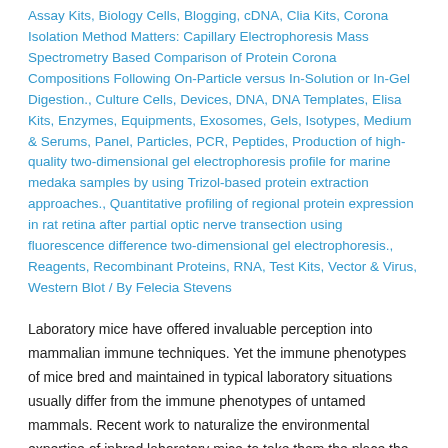Assay Kits, Biology Cells, Blogging, cDNA, Clia Kits, Corona Isolation Method Matters: Capillary Electrophoresis Mass Spectrometry Based Comparison of Protein Corona Compositions Following On-Particle versus In-Solution or In-Gel Digestion., Culture Cells, Devices, DNA, DNA Templates, Elisa Kits, Enzymes, Equipments, Exosomes, Gels, Isotypes, Medium & Serums, Panel, Particles, PCR, Peptides, Production of high-quality two-dimensional gel electrophoresis profile for marine medaka samples by using Trizol-based protein extraction approaches., Quantitative profiling of regional protein expression in rat retina after partial optic nerve transection using fluorescence difference two-dimensional gel electrophoresis., Reagents, Recombinant Proteins, RNA, Test Kits, Vector & Virus, Western Blot / By Felecia Stevens
Laboratory mice have offered invaluable perception into mammalian immune techniques. Yet the immune phenotypes of mice bred and maintained in typical laboratory situations usually differ from the immune phenotypes of untamed mammals. Recent work to naturalize the environmental expertise of inbred laboratory mice-to take them the place the wild issues are (to borrow a